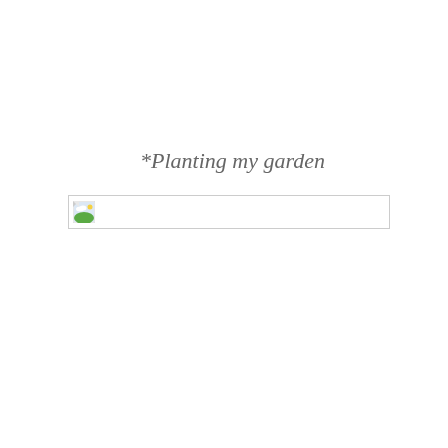*Planting my garden
[Figure (photo): Broken/missing image placeholder with a small landscape icon thumbnail on the left side of a wide rectangular placeholder box]